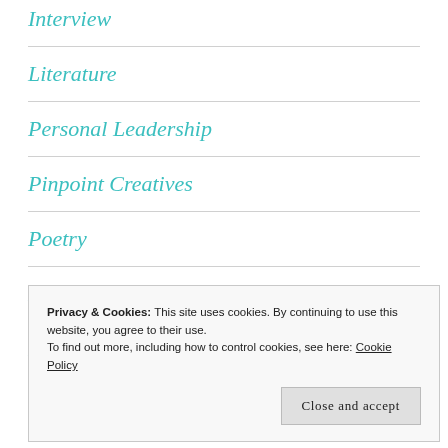Interview
Literature
Personal Leadership
Pinpoint Creatives
Poetry
Press Release
Publ... (partial, clipped)
Privacy & Cookies: This site uses cookies. By continuing to use this website, you agree to their use.
To find out more, including how to control cookies, see here: Cookie Policy
Close and accept